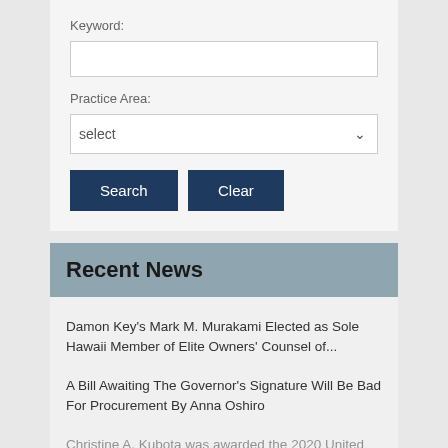Keyword:
Practice Area:
Search   Clear
Recent News
Damon Key's Mark M. Murakami Elected as Sole Hawaii Member of Elite Owners' Counsel of...
A Bill Awaiting The Governor's Signature Will Be Bad For Procurement By Anna Oshiro
Christine A. Kubota was awarded the 2020 United...